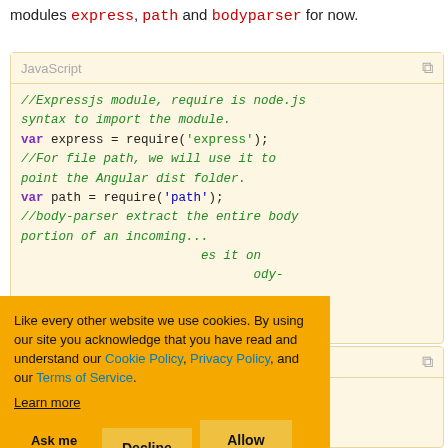modules express, path and bodyparser for now.
[Figure (screenshot): JavaScript code block showing Express.js module imports with comments. Code includes //Expressjs module require is node.js syntax to import the module. var express = require('express'); //For file path, we will use it to point the Angular dist folder. var path = require('path'); //body-parser extract the entire body portion of an incoming... es it on ...ody-]
Like every other website we use cookies. By using our site you acknowledge that you have read and understand our Cookie Policy, Privacy Policy, and our Terms of Service. Learn more
[Figure (screenshot): Cookie consent banner with orange background, Ask me later, Decline, and Allow cookies buttons]
[Figure (screenshot): Second JavaScript code block showing: app.use('/', function(req, res){]